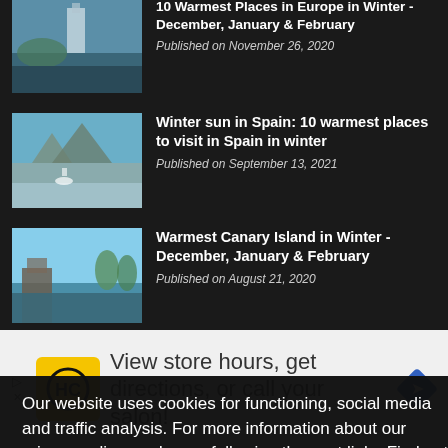10 Warmest Places in Europe in Winter - December, January & February
Published on November 26, 2020
[Figure (photo): Aerial view of a coastal European city with tall buildings and palm trees]
Winter sun in Spain: 10 warmest places to visit in Spain in winter
Published on September 13, 2021
[Figure (photo): Coastal Spanish city viewed from a hillside with a seagull in foreground]
Warmest Canary Island in Winter - December, January & February
Published on August 21, 2020
[Figure (photo): Canary Island harbour with boats and palm trees]
Tenerife Weather in December - How hot is Tenerife in December?
Published on November 25, 2020
Our website uses cookies for functioning, social media and traffic analysis. For more information about our privacy policy read more following the next link. Find out more
View store hours, get directions, or call your salon!